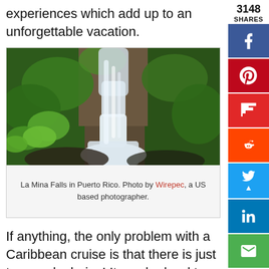experiences which add up to an unforgettable vacation.
[Figure (photo): A waterfall (La Mina Falls) cascading over mossy rocks surrounded by lush tropical green vegetation in Puerto Rico.]
La Mina Falls in Puerto Rico. Photo by Wirepec, a US based photographer.
If anything, the only problem with a Caribbean cruise is that there is just too much choice! It can be hard to pick between such an array of world-class